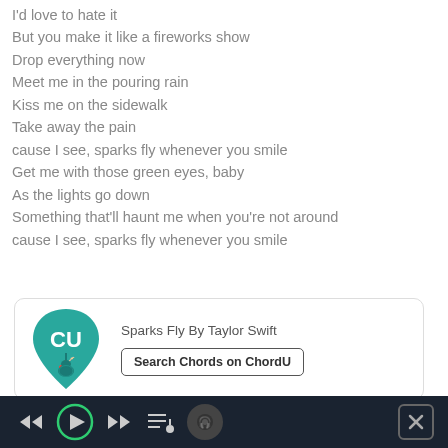I'd love to hate it
But you make it like a fireworks show
Drop everything now
Meet me in the pouring rain
Kiss me on the sidewalk
Take away the pain
cause I see, sparks fly whenever you smile
Get me with those green eyes, baby
As the lights go down
Something that'll haunt me when you're not around
cause I see, sparks fly whenever you smile
[Figure (logo): ChordU app logo: teal guitar pick shape with 'CU' text and guitar icon]
Sparks Fly By Taylor Swift
Search Chords on ChordU
[Figure (screenshot): Media player control bar with rewind, play, fast-forward, queue, album art, and close button on dark background]